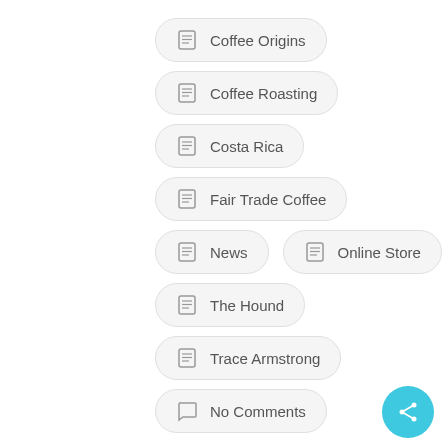Coffee Origins
Coffee Roasting
Costa Rica
Fair Trade Coffee
News
Online Store
The Hound
Trace Armstrong
No Comments